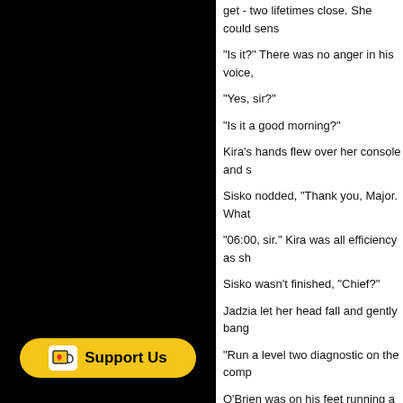get - two lifetimes close. She could sens
"Is it?" There was no anger in his voice,
"Yes, sir?"
"Is it a good morning?"
Kira's hands flew over her console and s
Sisko nodded, "Thank you, Major. What
"06:00, sir." Kira was all efficiency as sh
Sisko wasn't finished, "Chief?"
Jadzia let her head fall and gently bang
"Run a level two diagnostic on the comp
O'Brien was on his feet running a tricord me if it had forgotten the time. This is m
Sisko was adamant, "I'm sorry, Mr. O'Br
Enough was enough, "All right, I get the
Sisko grinned, "Major."
"..."